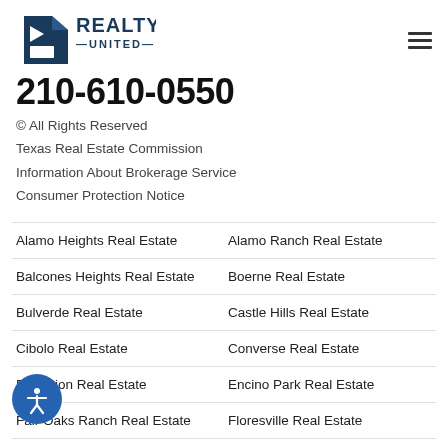[Figure (logo): Realty United logo with blue house/flag icon and text 'REALTY UNITED']
210-610-0550
© All Rights Reserved
Texas Real Estate Commission
Information About Brokerage Service
Consumer Protection Notice
Alamo Heights Real Estate
Alamo Ranch Real Estate
Balcones Heights Real Estate
Boerne Real Estate
Bulverde Real Estate
Castle Hills Real Estate
Cibolo Real Estate
Converse Real Estate
Dominion Real Estate
Encino Park Real Estate
Fair Oaks Ranch Real Estate
Floresville Real Estate
Fort Sam Houston Real Estate
Garden Ridge Real Estate
[He]lotes Real Estate
Hollywood Park Real Estate
Kello USA Real Estate
La Vernia Real Estate